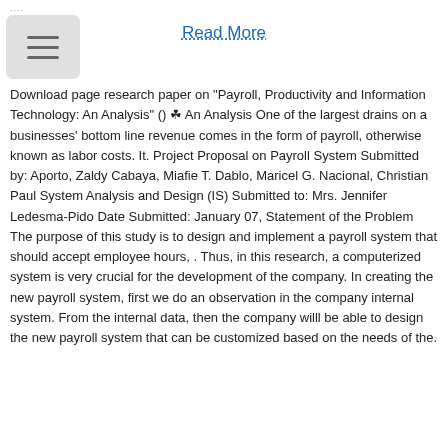....
Read More
Download page research paper on "Payroll, Productivity and Information Technology: An Analysis" () ☘ An Analysis One of the largest drains on a businesses' bottom line revenue comes in the form of payroll, otherwise known as labor costs. It. Project Proposal on Payroll System Submitted by: Aporto, Zaldy Cabaya, Miafie T. Dablo, Maricel G. Nacional, Christian Paul System Analysis and Design (IS) Submitted to: Mrs. Jennifer Ledesma-Pido Date Submitted: January 07, Statement of the Problem The purpose of this study is to design and implement a payroll system that should accept employee hours, . Thus, in this research, a computerized system is very crucial for the development of the company. In creating the new payroll system, first we do an observation in the company internal system. From the internal data, then the company willl be able to design the new payroll system that can be customized based on the needs of the.